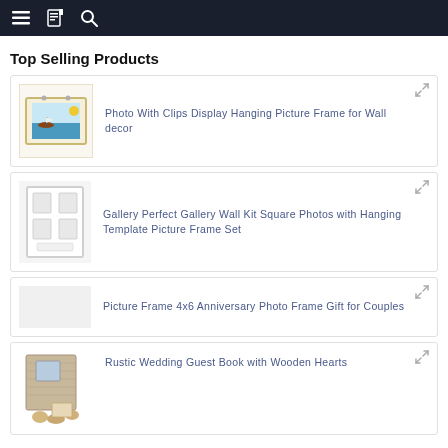Top Selling Products
Photo With Clips Display Hanging Picture Frame for Wall decor
Gallery Perfect Gallery Wall Kit Square Photos with Hanging Template Picture Frame Set
Picture Frame 4x6 Anniversary Photo Frame Gift for Couples
Rustic Wedding Guest Book with Wooden Hearts